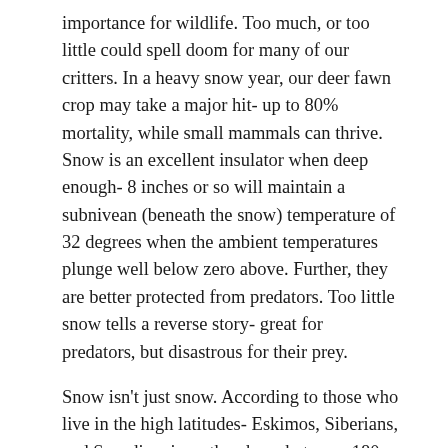importance for wildlife. Too much, or too little could spell doom for many of our critters. In a heavy snow year, our deer fawn crop may take a major hit- up to 80% mortality, while small mammals can thrive. Snow is an excellent insulator when deep enough- 8 inches or so will maintain a subnivean (beneath the snow) temperature of 32 degrees when the ambient temperatures plunge well below zero above. Further, they are better protected from predators. Too little snow tells a reverse story- great for predators, but disastrous for their prey.
Snow isn't just snow. According to those who live in the high latitudes- Eskimos, Siberians, and Scandinavians, they have between 180 and 300 words for different types of snow. As a skier, I have a few myself- powder, crusty, gropple, corn snow, and slush. I'm sure you can guess which of these I prefer.